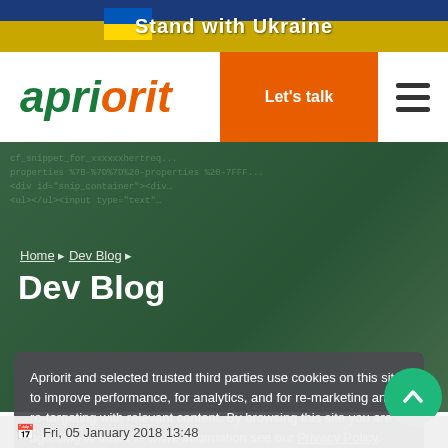Stand with Ukraine
[Figure (logo): Apriorit logo with green 'apri' and orange 'orit' italic text]
Let's talk
[Figure (photo): Hero background image showing code on a screen with dark green overlay tint]
Home ▸ Dev Blog ▸
Dev Blog
Apriorit and selected trusted third parties use cookies on this site to improve performance, for analytics, and for re-marketing and re-targeting with relevant content. By browsing this site you are agreeing to this. For more information see our Privacy Policy.
Close
Fri, 05 January 2018 13:48